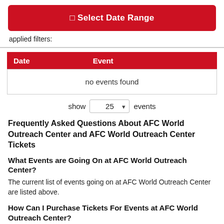[Figure (other): Red button labeled '⊟ Select Date Range']
applied filters:
| Date | Event |
| --- | --- |
| no events found |  |
show 25 events
Frequently Asked Questions About AFC World Outreach Center and AFC World Outreach Center Tickets
What Events are Going On at AFC World Outreach Center?
The current list of events going on at AFC World Outreach Center are listed above.
How Can I Purchase Tickets For Events at AFC World Outreach Center?
Purchase tickets for events at AFC World Outreach Center by clicking the "Tickets" tab next to the event you want to attend